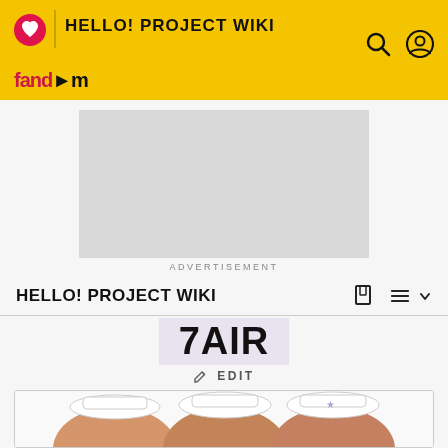HELLO! PROJECT WIKI — Fandom
[Figure (screenshot): Advertisement placeholder (grey rectangle)]
ADVERTISEMENT
HELLO! PROJECT WIKI
7AIR
✏ EDIT
[Figure (photo): Three young women wearing white hats/caps, smiling, photo cropped at bottom of page]